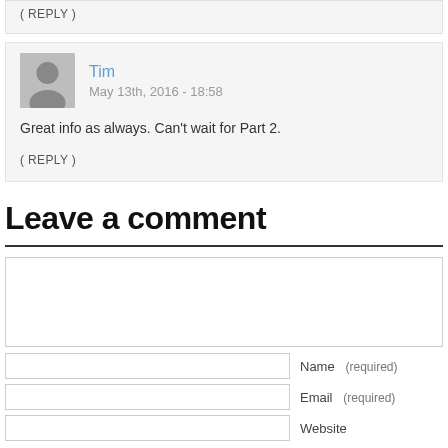( REPLY )
Tim
May 13th, 2016 - 18:58
Great info as always. Can't wait for Part 2.
( REPLY )
Leave a comment
Name   (required)
Email   (required)
Website